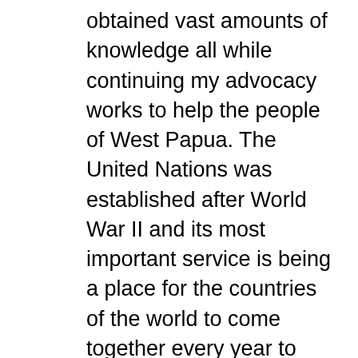obtained vast amounts of knowledge all while continuing my advocacy works to help the people of West Papua. The United Nations was established after World War II and its most important service is being a place for the countries of the world to come together every year to discuss, communicate and debate issues happening around the world. It regulates the activity of the world’s government. The issue of human rights violations in West Papua and brutal militaristic control of Indonesia is something I believe UN needs to act on in order to stand by their upheld values on judgment, human rights, and freedom. This has been an ongoing conflict for 50 years, it is unresolved and the military operation continues to destroy West Papua. Intimidation, terror, murder, rape, and what could be called‘slow motion genocide,’ these are the realities of life for the trampled people of West